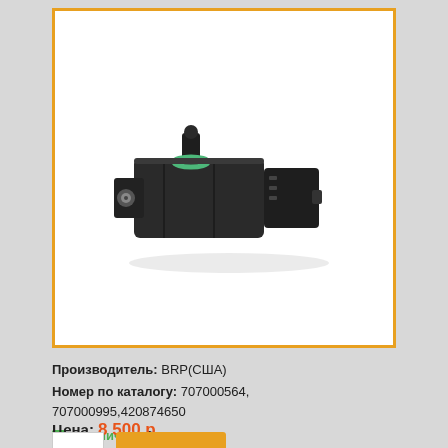[Figure (photo): Automotive sensor (MAP sensor / pressure sensor) — black plastic housing with green O-ring seal and electrical connector, photographed on white background, inside an orange-bordered white box]
Производитель: BRP(США)
Номер по каталогу: 707000564, 707000995,420874650
в наличии: 2 шт.
Цена: 8 500 р.